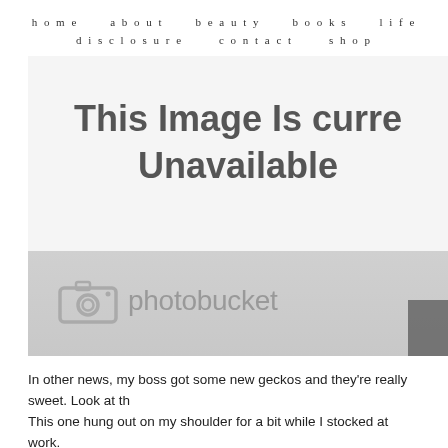home   about   beauty   books   life   disclosure   contact   shop
[Figure (screenshot): Photobucket image unavailable placeholder. Shows text 'This Image Is currently Unavailable' in dark bold sans-serif font on a light gray background, with the Photobucket logo (camera icon + 'photobucket' text) in a darker gray band at the bottom.]
In other news, my boss got some new geckos and they're really sweet. Look at th... This one hung out on my shoulder for a bit while I stocked at work.